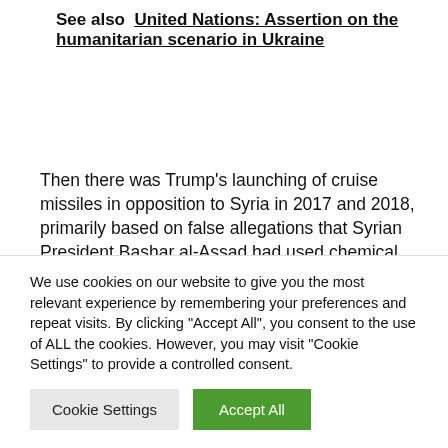See also  United Nations: Assertion on the humanitarian scenario in Ukraine
Then there was Trump's launching of cruise missiles in opposition to Syria in 2017 and 2018, primarily based on false allegations that Syrian President Bashar al-Assad had used chemical weapons on his personal individuals. And the supplying of weapons to Saudi Arabia for its cruel
We use cookies on our website to give you the most relevant experience by remembering your preferences and repeat visits. By clicking "Accept All", you consent to the use of ALL the cookies. However, you may visit "Cookie Settings" to provide a controlled consent.